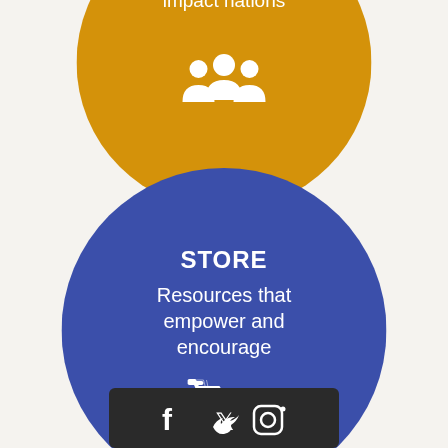[Figure (illustration): Gold/amber circle with text 'Together we can impact nations' and a white people/group icon at the bottom, partially cropped at top]
[Figure (illustration): Blue circle with text 'STORE' bold, 'Resources that empower and encourage', and a white shopping cart icon at the bottom]
[Figure (infographic): Dark rounded bar with social media icons: Facebook, Twitter, Instagram in white]